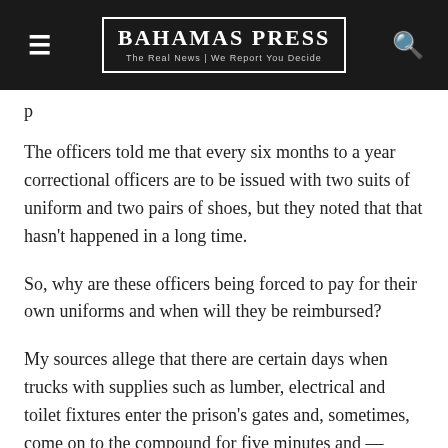BAHAMAS PRESS | The Real News | We Report You Decide
The officers told me that every six months to a year correctional officers are to be issued with two suits of uniform and two pairs of shoes, but they noted that that hasn't happened in a long time.
So, why are these officers being forced to pay for their own uniforms and when will they be reimbursed?
My sources allege that there are certain days when trucks with supplies such as lumber, electrical and toilet fixtures enter the prison's gates and, sometimes, come on to the compound for five minutes and — without offloading — the entire truckload leaves the prison and isn't seen again. They contend that there is no explanation or accounting for where such truckloads go or